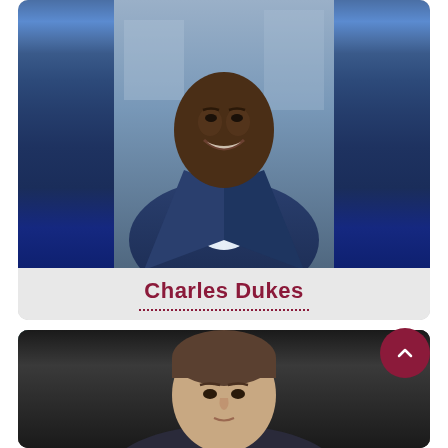[Figure (photo): Professional headshot of Charles Dukes, a man in a navy blue suit with a blue tie and plaid shirt, smiling, photographed outdoors]
Charles Dukes
[Figure (photo): Partial headshot of a man with brown hair in a dark setting, with a teal corner overlay and a document icon in the top left, and a scroll-to-top button visible]